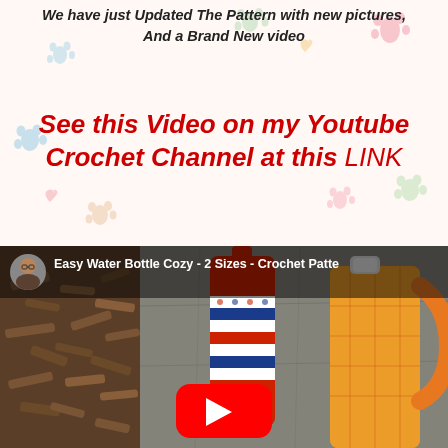We have just Updated The Pattern with new pictures,
And a Brand New video
See this Video on my Youtube Crochet Channel at this LINK
[Figure (screenshot): YouTube video thumbnail for 'Easy Water Bottle Cozy - 2 Sizes - Crochet Patte...' showing crocheted water bottle cozies in red/white/blue and yellow/orange colors against a stone/mulch background, with a YouTube play button overlay.]